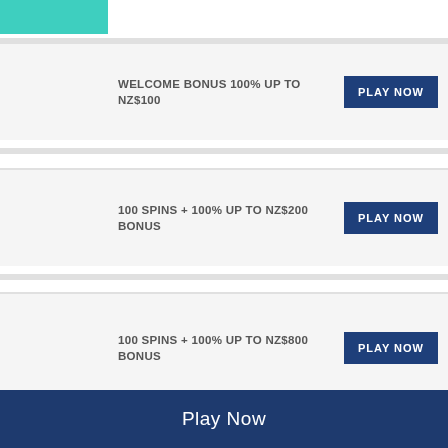[Figure (logo): Teal/turquoise colored rectangle at top left - partial logo]
[Figure (logo): mr.play casino logo - black background with white and blue text and mustache icon]
WELCOME BONUS 100% UP TO NZ$100
PLAY NOW
[Figure (logo): Queen Play casino logo - pink Q with crown and pink text]
100 SPINS + 100% UP TO NZ$200 BONUS
PLAY NOW
[Figure (logo): Regent Play casino logo - grey text with crown]
100 SPINS + 100% UP TO NZ$800 BONUS
PLAY NOW
Play Now